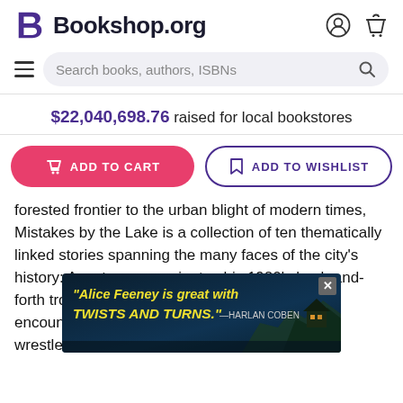[Figure (logo): Bookshop.org logo with stylized B icon and site name, plus user account and cart icons in the top right]
[Figure (screenshot): Search bar with hamburger menu icon on the left and search/magnifier icon on the right, placeholder text: Search books, authors, ISBNs]
$22,040,698.76 raised for local bookstores
[Figure (screenshot): Two buttons: ADD TO CART (pink/red pill button with cart icon) and ADD TO WISHLIST (outlined purple pill button with bookmark icon)]
forested frontier to the urban blight of modern times, Mistakes by the Lake is a collection of ten thematically linked stories spanning the many faces of the city's history: A motorman navigates his 1920's back-and-forth trolley until he snaps; A stockyards knocker encounters the Vir... nnabe wrestle... 0's Cuyaho... ng man m... ew or uncove...
[Figure (screenshot): Advertisement overlay showing quote: "Alice Feeney is great with TWISTS AND TURNS." — HARLAN COBEN over a dark atmospheric image of a cliff house]